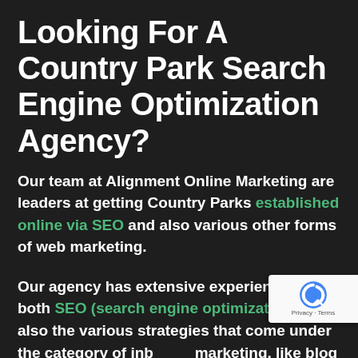Looking For A Country Park Search Engine Optimization Agency?
Our team at Alignment Online Marketing are leaders at getting Country Parks established online via SEO and also various other forms of web marketing.
Our agency has extensive experience in both SEO (search engine optimization) and also the various strategies that come under the category of inbound marketing, like blog writing, social media, building backlinks, webpage copywriting, rate of conversion